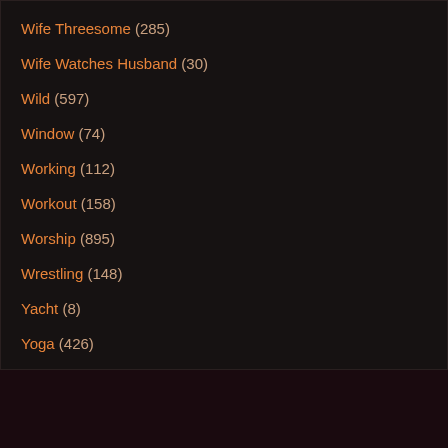Wife Threesome (285)
Wife Watches Husband (30)
Wild (597)
Window (74)
Working (112)
Workout (158)
Worship (895)
Wrestling (148)
Yacht (8)
Yoga (426)
Yoga Pants (74)
Young (7501)